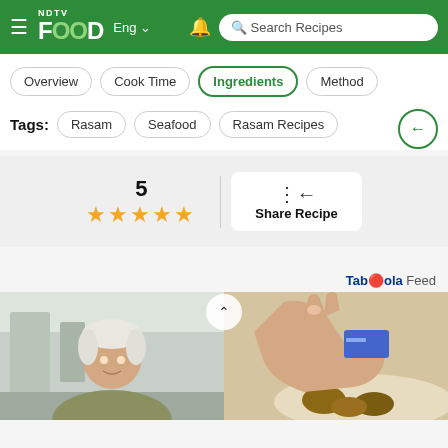NDTV Food | Eng | Search Recipes
Overview
Cook Time
Ingredients
Method
Tags: Rasam   Seafood   Rasam Recipes
5 ★★★★★
Share Recipe
Taboola Feed
[Figure (photo): Two side-by-side images: left shows an elderly man with glasses in a light interior, right shows a hand holding food items over a plate]